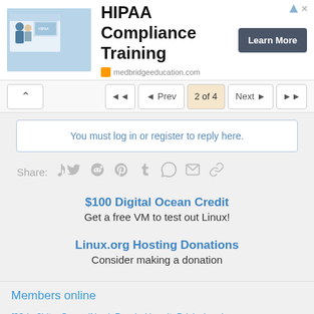[Figure (screenshot): Ad banner for HIPAA Compliance Training from medbridgeeducation.com with a Learn More button]
HIPAA Compliance Training
medbridgeeducation.com
◄◄  ◄ Prev  2 of 4  Next ►  ►►
You must log in or register to reply here.
Share:
$100 Digital Ocean Credit
Get a free VM to test out Linux!
Linux.org Hosting Donations
Consider making a donation
Members online
f33dm3bits, CrazedNerd, PsychoHermit, Brickwizard